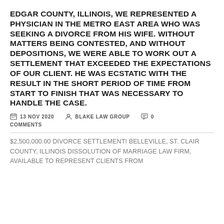EDGAR COUNTY, ILLINOIS, WE REPRESENTED A PHYSICIAN IN THE METRO EAST AREA WHO WAS SEEKING A DIVORCE FROM HIS WIFE. WITHOUT MATTERS BEING CONTESTED, AND WITHOUT DEPOSITIONS, WE WERE ABLE TO WORK OUT A SETTLEMENT THAT EXCEEDED THE EXPECTATIONS OF OUR CLIENT. HE WAS ECSTATIC WITH THE RESULT IN THE SHORT PERIOD OF TIME FROM START TO FINISH THAT WAS NECESSARY TO HANDLE THE CASE.
13 NOV 2020   BLAKE LAW GROUP   0 COMMENTS
$2,500,000.00 DIVORCE SETTLEMENT! BELLEVILLE, ST. CLAIR COUNTY, ILLINOIS DISSOLUTION OF MARRIAGE LAW FIRM, AVAILABLE TO REPRESENT CLIENTS FROM